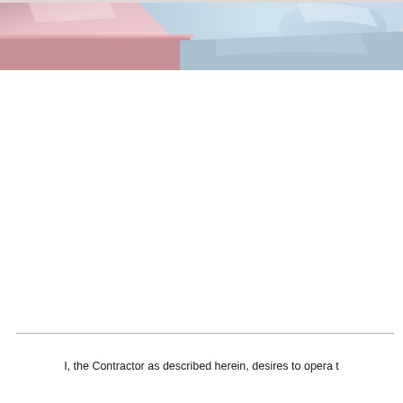[Figure (photo): Close-up photo of car roofline and windows, showing parts of two vehicles, one with a red/pink color and one with a silver/blue color, against a light background with buildings visible.]
I, the Contractor as described herein, desires to opera t